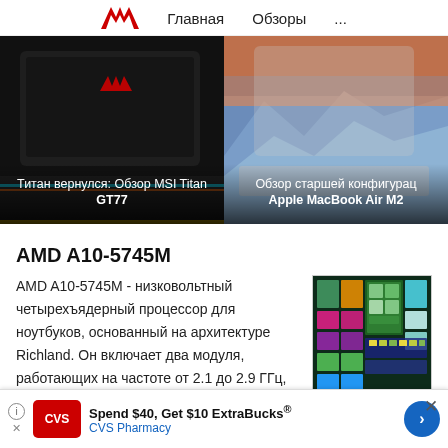Главная   Обзоры   ...
[Figure (screenshot): Hero image left: MSI Titan GT77 gaming laptop (black, seen from above/side), with gold ventilation bar at bottom. Caption overlay: 'Титан вернулся: Обзор MSI Titan GT77']
[Figure (screenshot): Hero image right: Apple MacBook Air M2 laptop open showing scenic wallpaper. Caption overlay: 'Обзор старшей конфигурац Apple MacBook Air M2']
AMD A10-5745M
AMD A10-5745M - низковольтный четырехъядерный процессор для ноутбуков, основанный на архитектуре Richland. Он включает два модуля, работающих на частоте от 2.1 до 2.9 ГГц, дискретную Radeon HD 8610G и контроллер
[Figure (screenshot): CPU die shot / chip visualization with colorful block diagram (greens, pinks, purples, yellows) showing processor layout]
Spend $40, Get $10 ExtraBucks® CVS Pharmacy